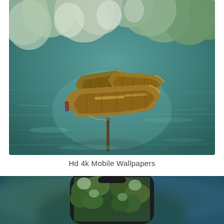[Figure (photo): Aerial or elevated view of three wooden rowboats moored together on a clear, teal-green lake. Trees and their reflections are visible in the still water. The scene has a serene, natural atmosphere.]
Hd 4k Mobile Wallpapers
[Figure (photo): Partial view of a smartphone displaying a forest aerial wallpaper, surrounded by a blurred colorful background, cut off at the bottom of the page.]